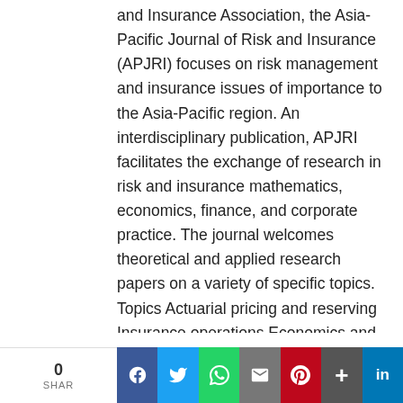and Insurance Association, the Asia-Pacific Journal of Risk and Insurance (APJRI) focuses on risk management and insurance issues of importance to the Asia-Pacific region. An interdisciplinary publication, APJRI facilitates the exchange of research in risk and insurance mathematics, economics, finance, and corporate practice. The journal welcomes theoretical and applied research papers on a variety of specific topics. Topics Actuarial pricing and reserving Insurance operations Economics and regulation Corporate/enterprise risk management and finance Catastrophe risk Social insuranc...
6) Asia Pacific Journal of Public